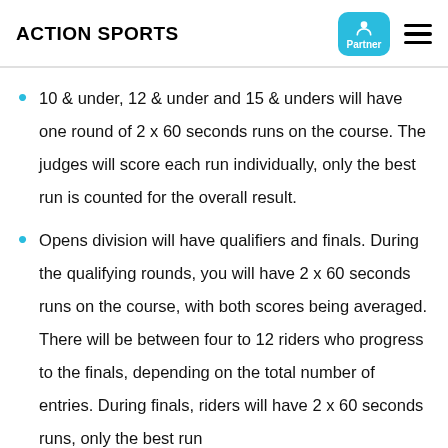ACTION SPORTS
10 & under, 12 & under and 15 & unders will have one round of 2 x 60 seconds runs on the course. The judges will score each run individually, only the best run is counted for the overall result.
Opens division will have qualifiers and finals. During the qualifying rounds, you will have 2 x 60 seconds runs on the course, with both scores being averaged. There will be between four to 12 riders who progress to the finals, depending on the total number of entries. During finals, riders will have 2 x 60 seconds runs, only the best run